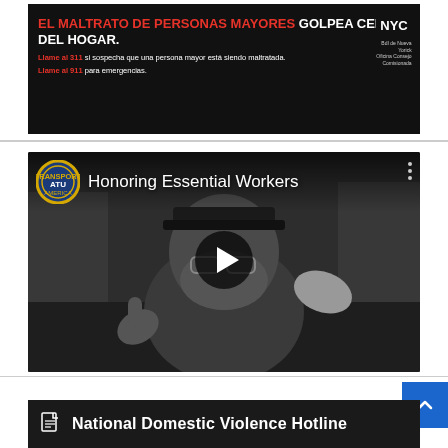[Figure (infographic): NYC government public service announcement banner in black background. Red bold text reads 'EL MALTRATO DE PERSONAS MAYORES' followed by white text 'GOLPEA CERCA DEL HOGAR.' Below: 'Llame al 311 si sospecha que una persona mayor está siendo maltratada.' and 'Llame al 911 para emergencias.' NYC logo on right.]
[Figure (screenshot): YouTube video thumbnail for 'Honoring Essential Workers'. Shows a grayscale image of a transit worker in a face mask giving a thumbs up. ATU (Amalgamated Transit Union) logo badge in top-left corner. Play button in center.]
National Domestic Violence Hotline